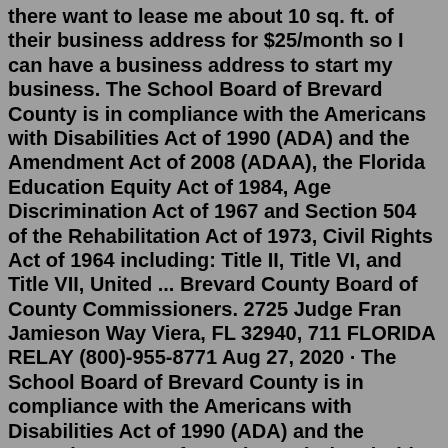there want to lease me about 10 sq. ft. of their business address for $25/month so I can have a business address to start my business. The School Board of Brevard County is in compliance with the Americans with Disabilities Act of 1990 (ADA) and the Amendment Act of 2008 (ADAA), the Florida Education Equity Act of 1984, Age Discrimination Act of 1967 and Section 504 of the Rehabilitation Act of 1973, Civil Rights Act of 1964 including: Title II, Title VI, and Title VII, United ... Brevard County Board of County Commissioners. 2725 Judge Fran Jamieson Way Viera, FL 32940, 711 FLORIDA RELAY (800)-955-8771 Aug 27, 2020 · The School Board of Brevard County is in compliance with the Americans with Disabilities Act of 1990 (ADA) and the Amendment Act of 2008 (ADAA), the Florida Education Equity Act of 1984, Age Discrimination Act of 1967 and Section 504 of the Rehabilitation Act of 1973, Civil Rights Act of 1964 including: Title II, Title VI, and Title VII, United ... Notice of Hearing - Traffic (Law 542) (Notice of Hearing - Traffic LAW